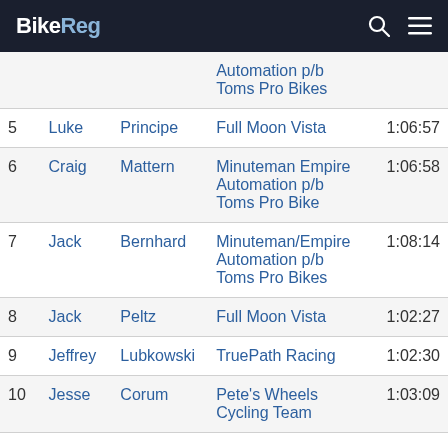BikeReg
| Place | First | Last | Team | Time |
| --- | --- | --- | --- | --- |
|  |  |  | Automation p/b Toms Pro Bikes |  |
| 5 | Luke | Principe | Full Moon Vista | 1:06:57 |
| 6 | Craig | Mattern | Minuteman Empire Automation p/b Toms Pro Bike | 1:06:58 |
| 7 | Jack | Bernhard | Minuteman/Empire Automation p/b Toms Pro Bikes | 1:08:14 |
| 8 | Jack | Peltz | Full Moon Vista | 1:02:27 |
| 9 | Jeffrey | Lubkowski | TruePath Racing | 1:02:30 |
| 10 | Jesse | Corum | Pete's Wheels Cycling Team | 1:03:09 |